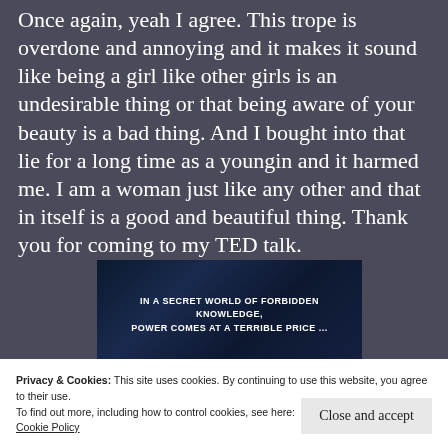Once again, yeah I agree. This trope is overdone and annoying and it makes it sound like being a girl like other girls is an undesirable thing or that being aware of your beauty is a bad thing. And I bought into that lie for a long time as a youngin and it harmed me. I am a woman just like any other and that in itself is a good and beautiful thing. Thank you for coming to my TED talk.
[Figure (other): Dark blue textured background with white uppercase text reading: IN A SECRET WORLD OF FORBIDDEN KNOWLEDGE, POWER COMES AT A TERRIBLE PRICE ...]
Privacy & Cookies: This site uses cookies. By continuing to use this website, you agree to their use.
To find out more, including how to control cookies, see here:
Cookie Policy
Close and accept